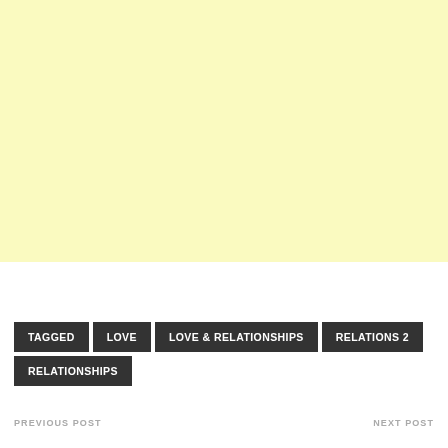[Figure (other): Light yellow rectangular block filling the upper portion of the page]
TAGGED LOVE LOVE & RELATIONSHIPS RELATIONS 2 RELATIONSHIPS
PREVIOUS POST  NEXT POST